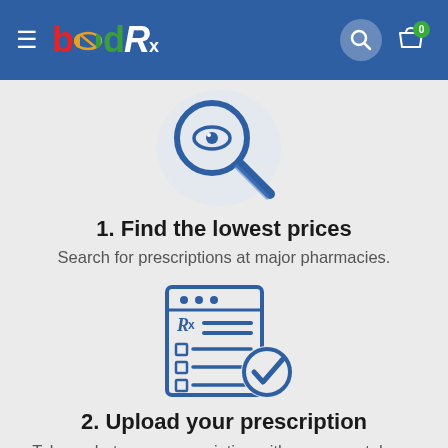biDRx
[Figure (illustration): Magnifying glass icon with an eye, blue outline style, on a light circular background]
1. Find the lowest prices
Search for prescriptions at major pharmacies.
[Figure (illustration): Prescription clipboard/checklist icon with Rx label and a checkmark badge, blue outline style]
2. Upload your prescription
Take a photo your prescription with your smartphone and upload.